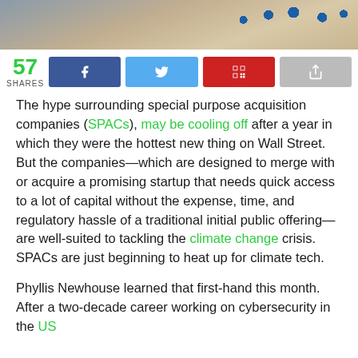[Figure (photo): Aerial photograph showing industrial equipment and solar panels on sandy/desert terrain]
57 SHARES
[Figure (other): Social sharing bar with Facebook, Twitter, QR code, and share buttons]
The hype surrounding special purpose acquisition companies (SPACs), may be cooling off after a year in which they were the hottest new thing on Wall Street. But the companies—which are designed to merge with or acquire a promising startup that needs quick access to a lot of capital without the expense, time, and regulatory hassle of a traditional initial public offering—are well-suited to tackling the climate change crisis. SPACs are just beginning to heat up for climate tech.
Phyllis Newhouse learned that first-hand this month. After a two-decade career working on cybersecurity in the US